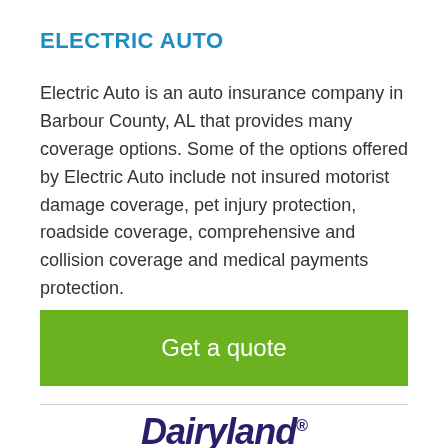ELECTRIC AUTO
Electric Auto is an auto insurance company in Barbour County, AL that provides many coverage options. Some of the options offered by Electric Auto include not insured motorist damage coverage, pet injury protection, roadside coverage, comprehensive and collision coverage and medical payments protection.
[Figure (other): Green 'Get a quote' call-to-action button]
[Figure (logo): Dairyland logo in dark purple italic script with registered trademark symbol]